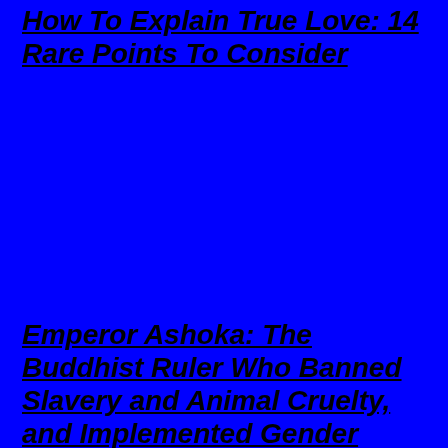How To Explain True Love: 14 Rare Points To Consider
Emperor Ashoka: The Buddhist Ruler Who Banned Slavery and Animal Cruelty, and Implemented Gender Equality